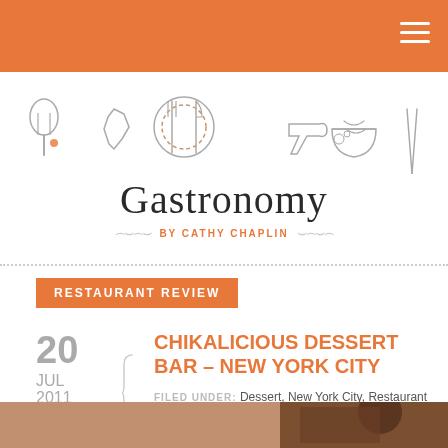Gastronomy by Cathy Chaplin
[Figure (illustration): Hand-drawn food icons: whisk, California map shape, plate with fork and knife, airplane, bowl of noodles, chopsticks]
Gastronomy
BY CATHY CHAPLIN
RESTAURANT REVIEW
20 JUL 2011
CHIKALICIOUS DESSERT BAR – NEW YORK CITY
FILED UNDER: Dessert, New York City, Restaurant Review
6 Comments
[Figure (photo): Bottom strip showing a partial photo of a restaurant scene]